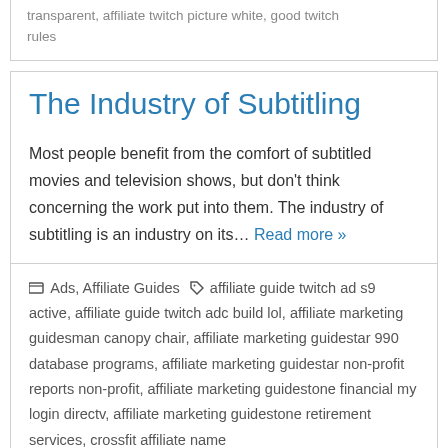transparent, affiliate twitch picture white, good twitch rules
The Industry of Subtitling
Most people benefit from the comfort of subtitled movies and television shows, but don't think concerning the work put into them. The industry of subtitling is an industry on its… Read more »
Ads, Affiliate Guides   affiliate guide twitch ad s9 active, affiliate guide twitch adc build lol, affiliate marketing guidesman canopy chair, affiliate marketing guidestar 990 database programs, affiliate marketing guidestar non-profit reports non-profit, affiliate marketing guidestone financial my login directv, affiliate marketing guidestone retirement services, crossfit affiliate name